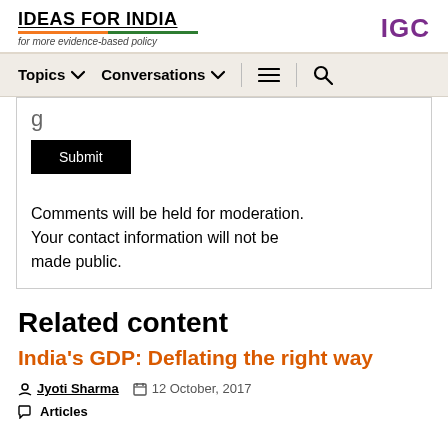IDEAS FOR INDIA — for more evidence-based policy | IGC
Topics  Conversations  [menu] [search]
Submit
Comments will be held for moderation. Your contact information will not be made public.
Related content
India's GDP: Deflating the right way
Jyoti Sharma   12 October, 2017
Articles